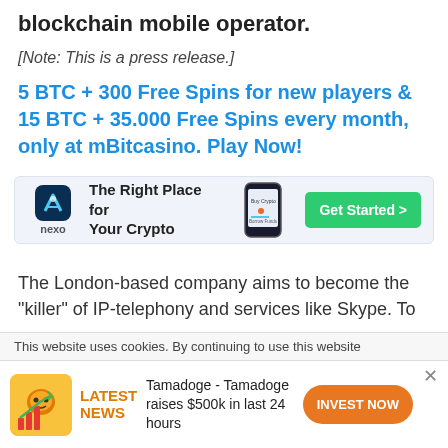blockchain mobile operator.
[Note: This is a press release.]
5 BTC + 300 Free Spins for new players & 15 BTC + 35.000 Free Spins every month, only at mBitcasino. Play Now!
[Figure (infographic): Nexo advertisement banner: logo on left, text 'The Right Place for Your Crypto', phone image in center, green 'Get Started >' button on right]
The London-based company aims to become the “killer” of IP-telephony and services like Skype. To
This website uses cookies. By continuing to use this website
[Figure (infographic): Bottom ad: Tamadoge image, LATEST NEWS label in orange, text 'Tamadoge - Tamadoge raises $500k in last 24 hours', orange INVEST NOW button, X close button]